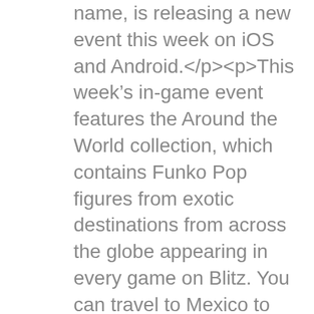name, is releasing a new event this week on iOS and Android. This week's in-game event features the Around the World collection, which contains Funko Pop figures from exotic destinations from across the globe appearing in every game on Blitz. You can travel to Mexico to visit Rosa the Xoloitzcuintli, or take a trip to Australia with Ozzy the koala. There's also Finley the clever Irish fox and Barkingham the bulldog in the Queen's Royal Guard. These Funko Pop figures will begin appearing in each game you play, but collecting all the ones from the event results in you being able to unbox the Legendary Event Pop Tula the Brazilian toucan in a lush feathery Carnival garb. Fiesta time! Collect and play Pops! from Around the World starting tomorrow at 4PM PT in #Funko